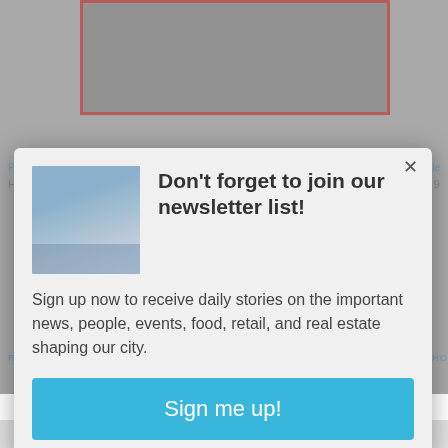[Figure (screenshot): Background webpage content partially visible behind modal: top image strip with red border showing people at desks, navigation prev/next links, related articles section, ice skating article title]
[Figure (screenshot): Modal popup dialog with newsletter signup. Contains aerial city photo thumbnail, bold heading 'Don't forget to join our newsletter list!', body text about daily stories, and blue 'Sign me up!' button. Close X button in top right corner.]
Don't forget to join our newsletter list!
Sign up now to receive daily stories on the important news, people, events, food, retail, and real estate shaping our city.
Sign me up!